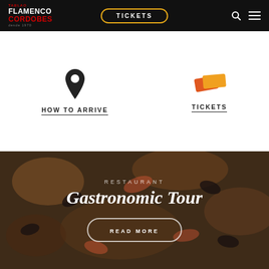Tablao Flamenco Cordobes — Navigation bar with TICKETS button, search and menu icons
[Figure (logo): Tablao Flamenco Cordobes logo — white and red text on black background]
HOW TO ARRIVE
TICKETS
[Figure (illustration): Food/paella background image with overlay showing RESTAURANT label, Gastronomic Tour title, and READ MORE button]
RESTAURANT
Gastronomic Tour
READ MORE